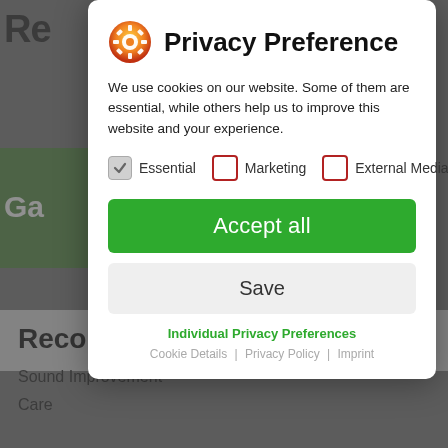Privacy Preference
We use cookies on our website. Some of them are essential, while others help us to improve this website and your experience.
Essential (checked)
Marketing (unchecked)
External Media (unchecked)
Accept all
Save
Individual Privacy Preferences
Cookie Details | Privacy Policy | Imprint
Recommended Products
Sound Improvement
Care